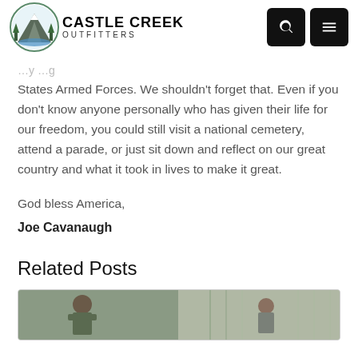Castle Creek Outfitters
States Armed Forces. We shouldn't forget that. Even if you don't know anyone personally who has given their life for our freedom, you could still visit a national cemetery, attend a parade, or just sit down and reflect on our great country and what it took in lives to make it great.
God bless America,
Joe Cavanaugh
Related Posts
[Figure (photo): Related post thumbnail showing two people outdoors in a wooded area]